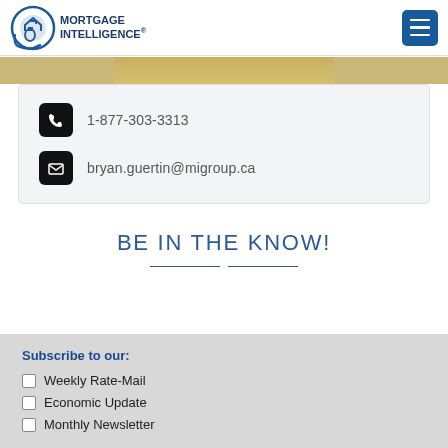MORTGAGE INTELLIGENCE
[Figure (photo): Partial photo of a person, cropped at top]
1-877-303-3313
bryan.guertin@migroup.ca
BE IN THE KNOW!
Subscribe to our:
Weekly Rate-Mail
Economic Update
Monthly Newsletter